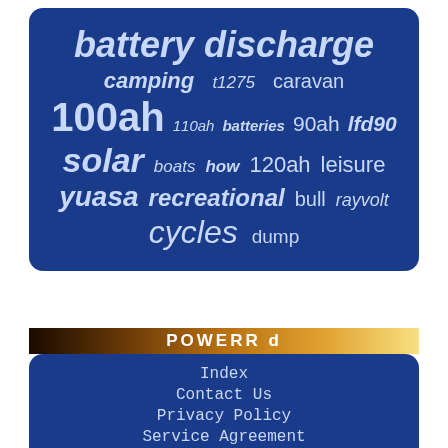battery discharge
camping   t1275   caravan
100ah   110ah   batteries   90ah   lfd90
solar   boats   how   120ah   leisure
yuasa   recreational   bull   rayvolt
cycles   dump
[Figure (other): Partial banner image with text POWERR or similar]
Index
Contact Us
Privacy Policy
Service Agreement
EN   FR
[Figure (other): Social media icons: Facebook, Twitter, Pinterest, Email]